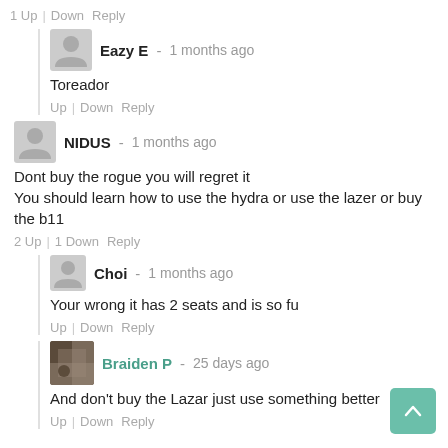1 Up | Down  Reply
Eazy E  -  1 months ago
Toreador
Up | Down  Reply
NIDUS  -  1 months ago
Dont buy the rogue you will regret it
You should learn how to use the hydra or use the lazer or buy the b11
2 Up | 1 Down  Reply
Choi  -  1 months ago
Your wrong it has 2 seats and is so fu
Up | Down  Reply
Braiden P  -  25 days ago
And don't buy the Lazar just use something better
Up | Down  Reply